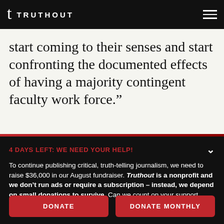TRUTHOUT
start coming to their senses and start confronting the documented effects of having a majority contingent faculty work force.”
4 DAYS LEFT: WE NEED YOUR HELP!
To continue publishing critical, truth-telling journalism, we need to raise $36,000 in our August fundraiser. Truthout is a nonprofit and we don’t run ads or require a subscription – instead, we depend on small donations to survive. Can we count on your support before time runs out?
DONATE
DONATE MONTHLY